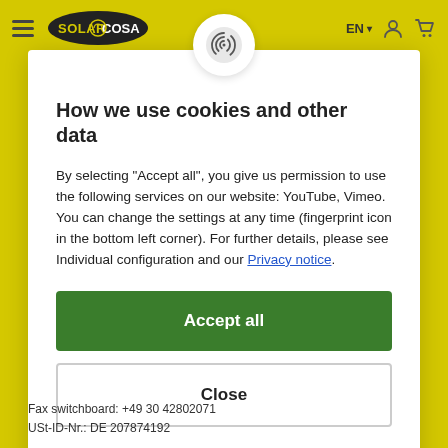SolarCosa — EN navigation bar with hamburger menu, logo, language selector, user icon, cart icon
How we use cookies and other data
By selecting "Accept all", you give us permission to use the following services on our website: YouTube, Vimeo. You can change the settings at any time (fingerprint icon in the bottom left corner). For further details, please see Individual configuration and our Privacy notice.
Accept all
Close
Configuration
Fax switchboard: +49 30 42802071
USt-ID-Nr.: DE 207874192